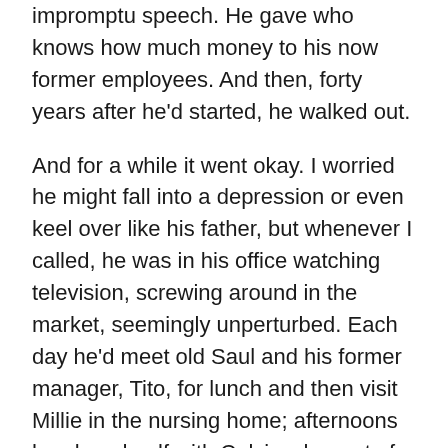impromptu speech. He gave who knows how much money to his now former employees. And then, forty years after he'd started, he walked out.
And for a while it went okay. I worried he might fall into a depression or even keel over like his father, but whenever I called, he was in his office watching television, screwing around in the market, seemingly unperturbed. Each day he'd meet old Saul and his former manager, Tito, for lunch and then visit Millie in the nursing home; afternoons he played golf with Calvin who, out of a love of irony or out of sheer idiocy, invited Ronaldo to be the "Stock Guru" on his radio show. One night, while out walking old Zaharias, he even found and took in an abandoned mutt he named "Lucky."
For a guy who'd just lost the organizing principle of